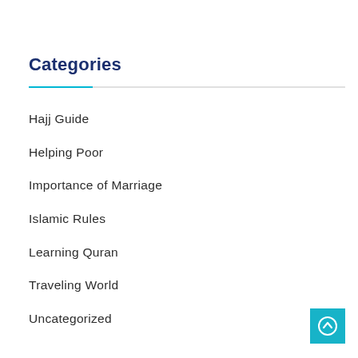Categories
Hajj Guide
Helping Poor
Importance of Marriage
Islamic Rules
Learning Quran
Traveling World
Uncategorized